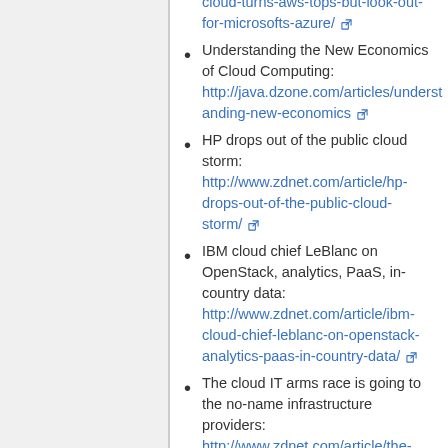cloud-turns-aws-tops-but-look-out-for-microsofts-azure/ [link]
Understanding the New Economics of Cloud Computing: http://java.dzone.com/articles/understanding-new-economics [link]
HP drops out of the public cloud storm: http://www.zdnet.com/article/hp-drops-out-of-the-public-cloud-storm/ [link]
IBM cloud chief LeBlanc on OpenStack, analytics, PaaS, in-country data: http://www.zdnet.com/article/ibm-cloud-chief-leblanc-on-openstack-analytics-paas-in-country-data/ [link]
The cloud IT arms race is going to the no-name infrastructure providers: http://www.zdnet.com/article/the- [link]